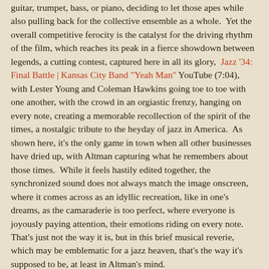guitar, trumpet, bass, or piano, deciding to let those apes while also pulling back for the collective ensemble as a whole.  Yet the overall competitive ferocity is the catalyst for the driving rhythm of the film, which reaches its peak in a fierce showdown between legends, a cutting contest, captured here in all its glory,  Jazz '34: Final Battle | Kansas City Band "Yeah Man" YouTube (7:04), with Lester Young and Coleman Hawkins going toe to toe with one another, with the crowd in an orgiastic frenzy, hanging on every note, creating a memorable recollection of the spirit of the times, a nostalgic tribute to the heyday of jazz in America.  As shown here, it's the only game in town when all other businesses have dried up, with Altman capturing what he remembers about those times.  While it feels hastily edited together, the synchronized sound does not always match the image onscreen, where it comes across as an idyllic recreation, like in one's dreams, as the camaraderie is too perfect, where everyone is joyously paying attention, their emotions riding on every note.  That's just not the way it is, but in this brief musical reverie, which may be emblematic for a jazz heaven, that's the way it's supposed to be, at least in Altman's mind.
Robert Kennedy at 12:00 AM